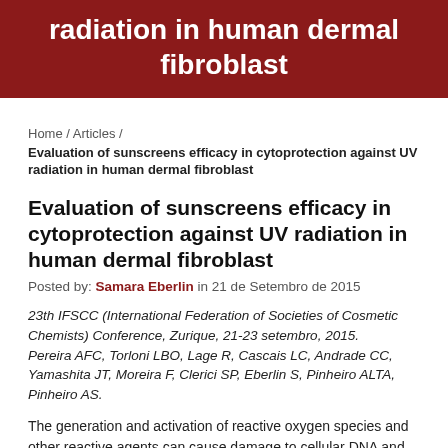radiation in human dermal fibroblast
Home / Articles / Evaluation of sunscreens efficacy in cytoprotection against UV radiation in human dermal fibroblast
Evaluation of sunscreens efficacy in cytoprotection against UV radiation in human dermal fibroblast
Posted by: Samara Eberlin in 21 de Setembro de 2015
23th IFSCC (International Federation of Societies of Cosmetic Chemists) Conference, Zurique, 21-23 setembro, 2015. Pereira AFC, Torloni LBO, Lage R, Cascais LC, Andrade CC, Yamashita JT, Moreira F, Clerici SP, Eberlin S, Pinheiro ALTA, Pinheiro AS.
The generation and activation of reactive oxygen species and other reactive agents can cause damage to cellular DNA and the immediate repair capacity of such damage is an important